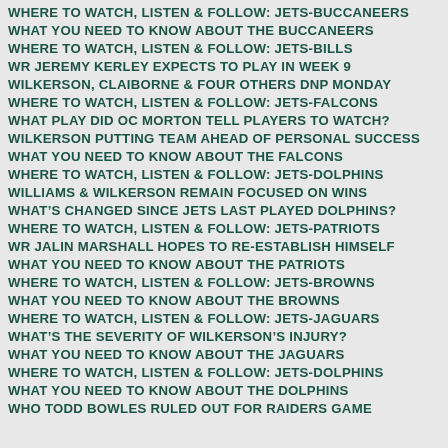WHERE TO WATCH, LISTEN & FOLLOW: JETS-BUCCANEERS
WHAT YOU NEED TO KNOW ABOUT THE BUCCANEERS
WHERE TO WATCH, LISTEN & FOLLOW: JETS-BILLS
WR JEREMY KERLEY EXPECTS TO PLAY IN WEEK 9
WILKERSON, CLAIBORNE & FOUR OTHERS DNP MONDAY
WHERE TO WATCH, LISTEN & FOLLOW: JETS-FALCONS
WHAT PLAY DID OC MORTON TELL PLAYERS TO WATCH?
WILKERSON PUTTING TEAM AHEAD OF PERSONAL SUCCESS
WHAT YOU NEED TO KNOW ABOUT THE FALCONS
WHERE TO WATCH, LISTEN & FOLLOW: JETS-DOLPHINS
WILLIAMS & WILKERSON REMAIN FOCUSED ON WINS
WHAT'S CHANGED SINCE JETS LAST PLAYED DOLPHINS?
WHERE TO WATCH, LISTEN & FOLLOW: JETS-PATRIOTS
WR JALIN MARSHALL HOPES TO RE-ESTABLISH HIMSELF
WHAT YOU NEED TO KNOW ABOUT THE PATRIOTS
WHERE TO WATCH, LISTEN & FOLLOW: JETS-BROWNS
WHAT YOU NEED TO KNOW ABOUT THE BROWNS
WHERE TO WATCH, LISTEN & FOLLOW: JETS-JAGUARS
WHAT'S THE SEVERITY OF WILKERSON'S INJURY?
WHAT YOU NEED TO KNOW ABOUT THE JAGUARS
WHERE TO WATCH, LISTEN & FOLLOW: JETS-DOLPHINS
WHAT YOU NEED TO KNOW ABOUT THE DOLPHINS
WHO TODD BOWLES RULED OUT FOR RAIDERS GAME